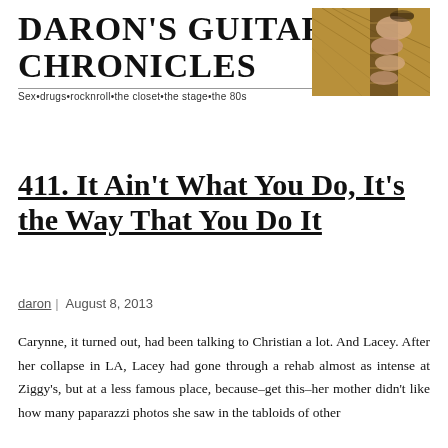DARON'S GUITAR CHRONICLES
Sex•drugs•rocknroll•the closet•the stage•the 80s
[Figure (photo): Close-up photo of a hand playing an acoustic guitar, showing fingers on the fretboard and strings.]
411. It Ain't What You Do, It's the Way That You Do It
daron | August 8, 2013
Carynne, it turned out, had been talking to Christian a lot. And Lacey. After her collapse in LA, Lacey had gone through a rehab almost as intense at Ziggy's, but at a less famous place, because–get this–her mother didn't like how many paparazzi photos she saw in the tabloids of other